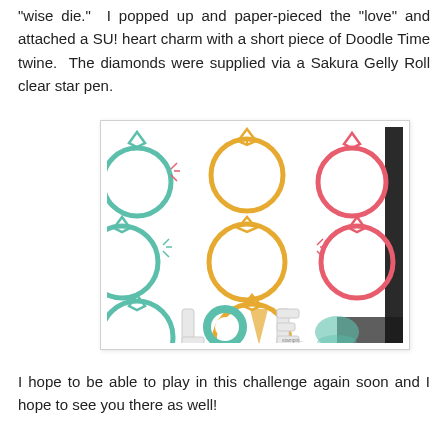"wise die."  I popped up and paper-pieced the "love" and attached a SU! heart charm with a short piece of Doodle Time twine.  The diamonds were supplied via a Sakura Gelly Roll clear star pen.
[Figure (photo): Close-up photo of a handmade card featuring a pattern of diamond rings in teal, gold/yellow, and pink/coral colors on white background, with 'LOVE' letter cutouts visible at the bottom.]
I hope to be able to play in this challenge again soon and I hope to see you there as well!